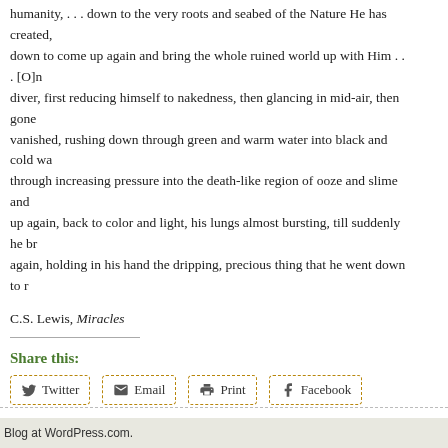humanity, . . . down to the very roots and seabed of the Nature He has created, down to come up again and bring the whole ruined world up with Him . . . [O]ne diver, first reducing himself to nakedness, then glancing in mid-air, then gone with a vanished, rushing down through green and warm water into black and cold water, through increasing pressure into the death-like region of ooze and slime and cold, up again, back to color and light, his lungs almost bursting, till suddenly he breaks again, holding in his hand the dripping, precious thing that he went down to re
C.S. Lewis, Miracles
Share this:
Twitter  Email  Print  Facebook
Loading...
Read Full Post »
Blog at WordPress.com.